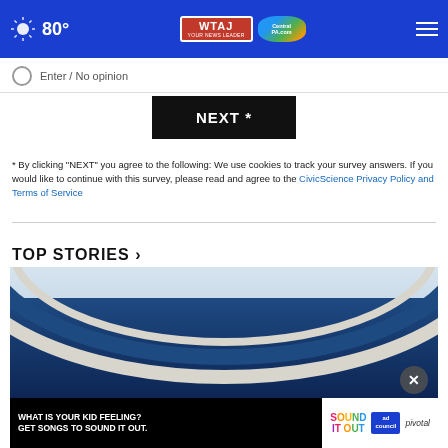80° WTAJ / CentralPA.com navigation bar
Enter / No opinion
NEXT *
* By clicking "NEXT" you agree to the following: We use cookies to track your survey answers. If you would like to continue with this survey, please read and agree to the CivicScience Privacy Policy and Terms of Service
TOP STORIES ›
[Figure (photo): Partial view of a vehicle (RV or bus) with curved white and dark blue striping against a light sky background, with an advertisement banner overlay at the bottom reading 'WHAT IS YOUR KID FEELING? GET SONGS TO SOUND IT OUT.' with Sound It Out and Ad Council / Pivotal branding.]